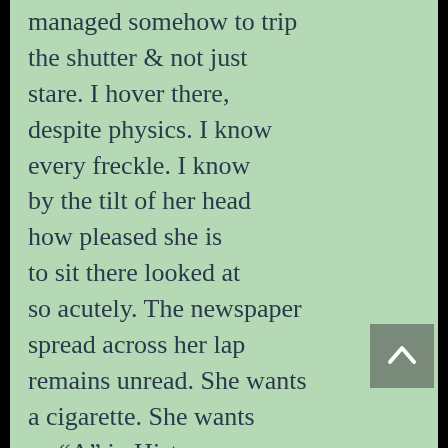managed somehow to trip the shutter & not just stare. I hover there, despite physics. I know every freckle. I know by the tilt of her head how pleased she is to sit there looked at so acutely. The newspaper spread across her lap remains unread. She wants a cigarette. She wants an “A” in History. She wants this over so the knee-high, fringed boots can come off. I hear the static charge of the purple-wool socks pulled over the stubble on one calf, then the other. I hover there, a nowhere